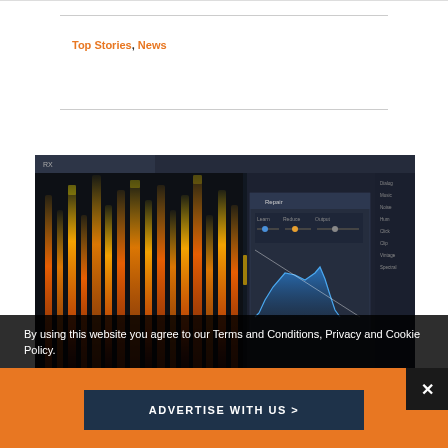Top Stories, News
[Figure (screenshot): Audio/music software interface showing a spectrogram with orange/yellow frequency visualization on the left and a blue EQ or noise reduction curve panel on the right, with a dark sidebar menu on the far right.]
By using this website you agree to our Terms and Conditions, Privacy and Cookie Policy.
ADVERTISE WITH US >